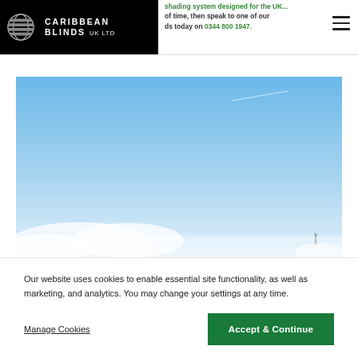[Figure (logo): Caribbean Blinds UK Ltd logo — white text and globe icon on black background]
shading system designed for the UK... of time, then speak to one of our ds today on 0344 800 1947.
[Figure (photo): Sky photograph with light blue gradient and white clouds near the bottom — outdoor scene]
Our website uses cookies to enable essential site functionality, as well as marketing, and analytics. You may change your settings at any time.
Manage Cookies
Accept & Continue